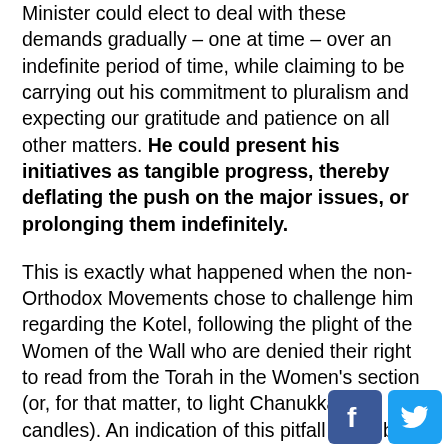Minister could elect to deal with these demands gradually – one at time – over an indefinite period of time, while claiming to be carrying out his commitment to pluralism and expecting our gratitude and patience on all other matters. He could present his initiatives as tangible progress, thereby deflating the push on the major issues, or prolonging them indefinitely.
This is exactly what happened when the non-Orthodox Movements chose to challenge him regarding the Kotel, following the plight of the Women of the Wall who are denied their right to read from the Torah in the Women's section (or, for that matter, to light Chanukkah candles). An indication of this pitfall could be seen back in 2013 during the JFNA General Assembly, as well as during the subsequent Reform movement's Biennial at the end of that same year, when Netanyahu focused his message to the religiously